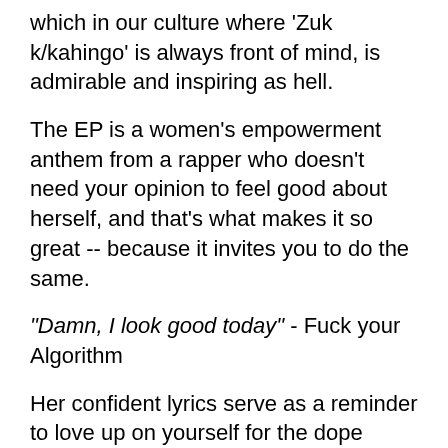which in our culture where 'Zuk k/kahinga' is always front of mind, is admirable and inspiring as hell.
The EP is a women's empowerment anthem from a rapper who doesn't need your opinion to feel good about herself, and that's what makes it so great -- because it invites you to do the same.
“Damn, I look good today” - Fuck your Algorithm
Her confident lyrics serve as a reminder to love up on yourself for the dope energy and traits within you, without seeking validation from anyone, or caring what anyone else thinks.